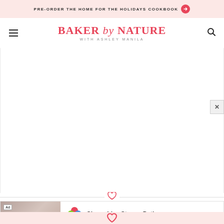PRE-ORDER THE HOME FOR THE HOLIDAYS COOKBOOK →
BAKER by NATURE WITH ASHLEY MANILA
[Figure (illustration): Large white blank content area representing an image placeholder on a food blog page]
[Figure (illustration): Heart icon separator between content and footer]
[Figure (advertisement): Ad banner: Clover-Live Stream Dating with Download button, showing a woman photo on the left and Clover app logo on the right]